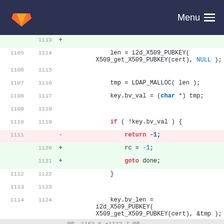GitLab Menu
[Figure (screenshot): GitLab code diff view showing changes to C source code. Lines 1105-1124 are shown. A line with 'return -1;' is removed (line 1111 old) and replaced with 'rc = -1;' and 'goto done;' (lines 1120-1121 new).]